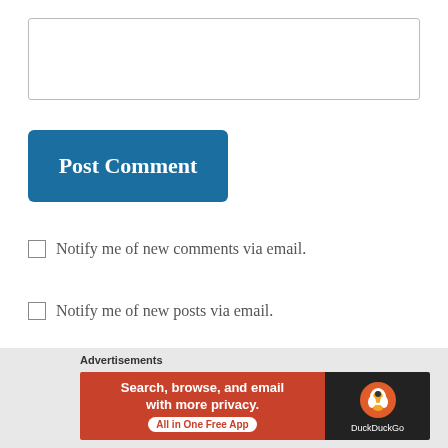[Figure (screenshot): Empty text input textarea with light gray border]
[Figure (screenshot): Blue 'Post Comment' button with white bold text]
Notify me of new comments via email.
Notify me of new posts via email.
Advertisements - Search, browse, and email with more privacy. All in One Free App - DuckDuckGo